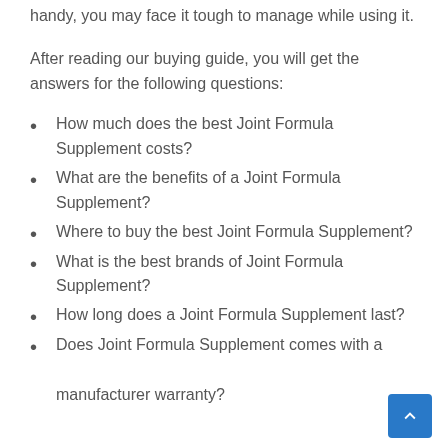handy, you may face it tough to manage while using it.
After reading our buying guide, you will get the answers for the following questions:
How much does the best Joint Formula Supplement costs?
What are the benefits of a Joint Formula Supplement?
Where to buy the best Joint Formula Supplement?
What is the best brands of Joint Formula Supplement?
How long does a Joint Formula Supplement last?
Does Joint Formula Supplement comes with a manufacturer warranty?